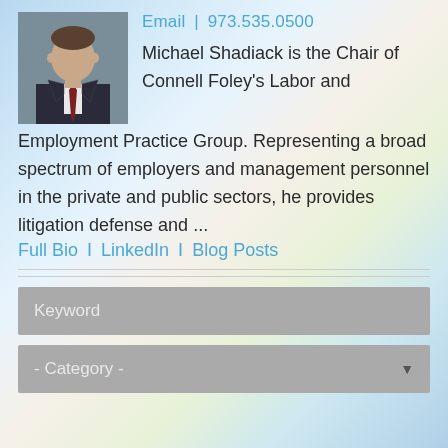[Figure (photo): Professional headshot of Michael Shadiack, a man in a dark suit with a dark red tie, against a light background.]
Email | 973.535.0500
Michael Shadiack is the Chair of Connell Foley's Labor and Employment Practice Group. Representing a broad spectrum of employers and management personnel in the private and public sectors, he provides litigation defense and ...
Full Bio I LinkedIn I Blog Posts
Keyword
- Category -